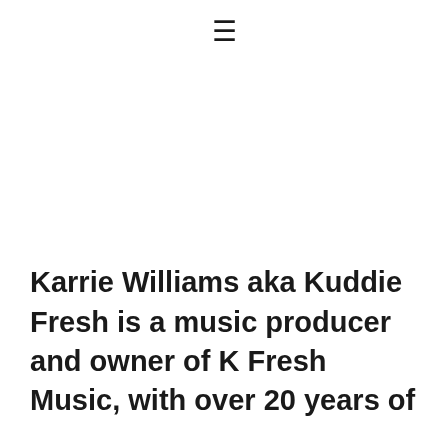≡
Karrie Williams aka Kuddie Fresh is a music producer and owner of K Fresh Music, with over 20 years of